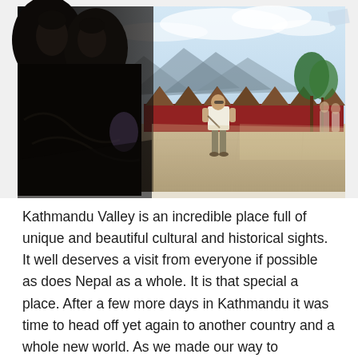[Figure (photo): Outdoor scene at a temple or heritage site in Kathmandu Valley. Dark stone Buddhist or Hindu statues dominate the left foreground in silhouette. In the background, a person in a white shirt and grey pants stands on a paved courtyard. Behind them are rows of small wooden stalls with red bases and triangular roofs, possibly a market or souvenir area. Mountains and a hazy sky are visible in the distance. Green plants and flags are seen on the right side.]
Kathmandu Valley is an incredible place full of unique and beautiful cultural and historical sights. It well deserves a visit from everyone if possible as does Nepal as a whole. It is that special a place. After a few more days in Kathmandu it was time to head off yet again to another country and a whole new world. As we made our way to